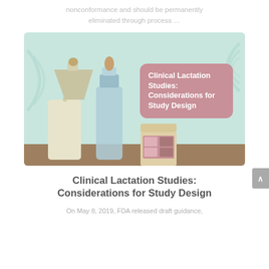nonconformance and should be permanently eliminated through process …
[Figure (illustration): Illustrated banner image showing baby feeding items (breast pump, baby bottle, formula jar) on a shelf with a mint/teal background. A pink rounded rectangle overlay reads 'Clinical Lactation Studies: Considerations for Study Design' in bold white text.]
Clinical Lactation Studies: Considerations for Study Design
On May 8, 2019, FDA released draft guidance,